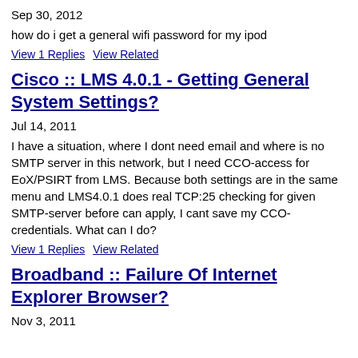Sep 30, 2012
how do i get a general wifi password for my ipod
View 1 Replies   View Related
Cisco :: LMS 4.0.1 - Getting General System Settings?
Jul 14, 2011
I have a situation, where I dont need email and where is no SMTP server in this network, but I need CCO-access for EoX/PSIRT from LMS. Because both settings are in the same menu and LMS4.0.1 does real TCP:25 checking for given SMTP-server before can apply, I cant save my CCO-credentials. What can I do?
View 1 Replies   View Related
Broadband :: Failure Of Internet Explorer Browser?
Nov 3, 2011